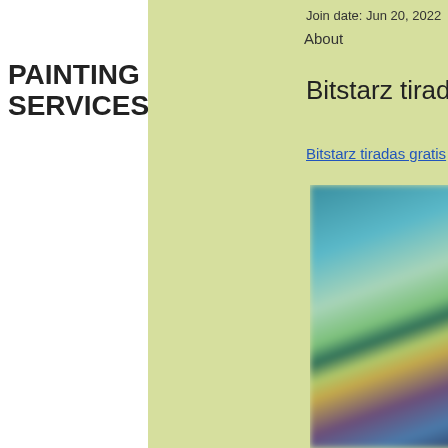Join date: Jun 20, 2022
PAINTING SERVICES
About
Schedule Now
Bitstarz tiradas gratis
Bitstarz tiradas gratis
[Figure (photo): Blurred screenshot of a gaming or casino website with colorful characters and game thumbnails]